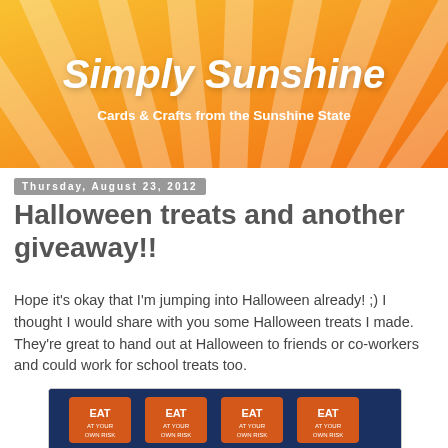[Figure (illustration): Simply Sunshine blog header banner with orange/yellow gradient background, sunburst rays, blog title 'Simply Sunshine' in white italic bold text, and subtitle 'Cards & Crafts from the Sunshine State' in white bold text]
Thursday, August 23, 2012
Halloween treats and another giveaway!!
Hope it's okay that I'm jumping into Halloween already! ;) I thought I would share with you some Halloween treats I made. They're great to hand out at Halloween to friends or co-workers and could work for school treats too.
[Figure (photo): Photo of orange 'EAT AT YOUR OWN RISK' Halloween treat packages on a dark blue background, showing four packages side by side]